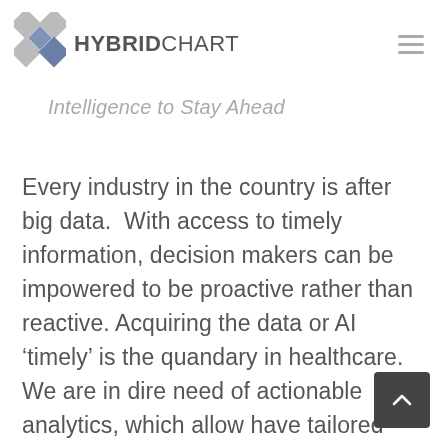[Figure (logo): HybridChart logo with diamond/rhombus grid icon in grey and blue, followed by 'HYBRIDCHART' wordmark]
Intelligence to Stay Ahead
Every industry in the country is after big data.  With access to timely information, decision makers can be impowered to be proactive rather than reactive. Acquiring the data or AI ‘timely’ is the quandary in healthcare.  We are in dire need of actionable analytics, which allow have tailored insights and deliver